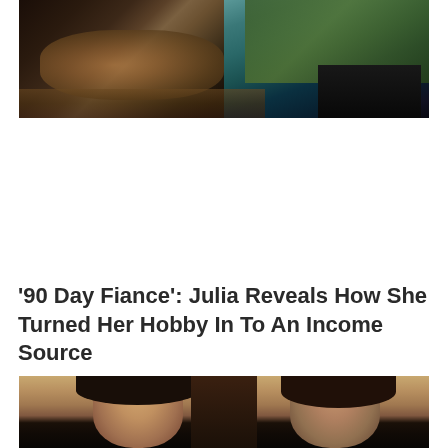[Figure (photo): Photo of a dog and a woman in a wooded outdoor setting. The woman is wearing a teal/cyan top and black pants, crouching near a large dog (appears to be a German Shepherd) on a dirt path surrounded by green foliage.]
‘90 Day Fiance’: Julia Reveals How She Turned Her Hobby In To An Income Source
[Figure (photo): Partial photo showing two people's faces/heads from the top, cropped at the bottom of the page.]